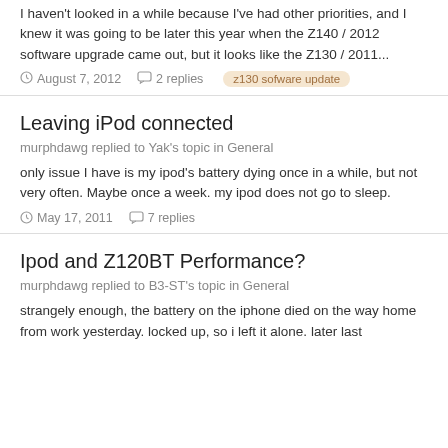I haven't looked in a while because I've had other priorities, and I knew it was going to be later this year when the Z140 / 2012 software upgrade came out, but it looks like the Z130 / 2011...
August 7, 2012 · 2 replies · z130 sofware update
Leaving iPod connected
murphdawg replied to Yak's topic in General
only issue I have is my ipod's battery dying once in a while, but not very often. Maybe once a week. my ipod does not go to sleep.
May 17, 2011 · 7 replies
Ipod and Z120BT Performance?
murphdawg replied to B3-ST's topic in General
strangely enough, the battery on the iphone died on the way home from work yesterday. locked up, so i left it alone. later last